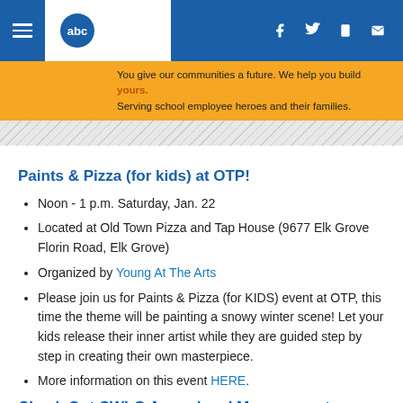abc10 navigation bar with hamburger menu, logo, and social icons (f, twitter, phone, mail)
[Figure (screenshot): Ad banner with orange background: 'You give our communities a future. We help you build yours. Serving school employee heroes and their families.']
Paints & Pizza (for kids) at OTP!
Noon - 1 p.m. Saturday, Jan. 22
Located at Old Town Pizza and Tap House (9677 Elk Grove Florin Road, Elk Grove)
Organized by Young At The Arts
Please join us for Paints & Pizza (for KIDS) event at OTP, this time the theme will be painting a snowy winter scene! Let your kids release their inner artist while they are guided step by step in creating their own masterpiece.
More information on this event HERE.
Check Out CWLG Annual and Management Sales...